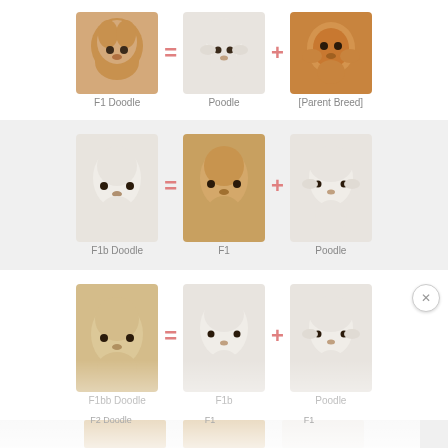[Figure (infographic): Infographic showing dog breed combinations: F1 Doodle = Poodle + [Parent Breed]; F1b Doodle = F1 + Poodle; F1bb Doodle = F1b + Poodle; F2 Doodle = F1 + F1 (partially visible); another row partially visible at bottom. Each row shows three dog photos with = and + symbols between them and labels underneath.]